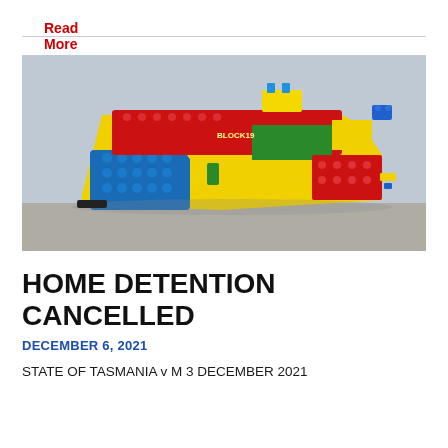Read More »
[Figure (photo): A colorful LEGO-themed handgun with red, yellow, blue, and green brick-style panels covering the slide and grip, photographed on a concrete surface with a blurred background.]
HOME DETENTION CANCELLED
DECEMBER 6, 2021
STATE OF TASMANIA v M 3 DECEMBER 2021